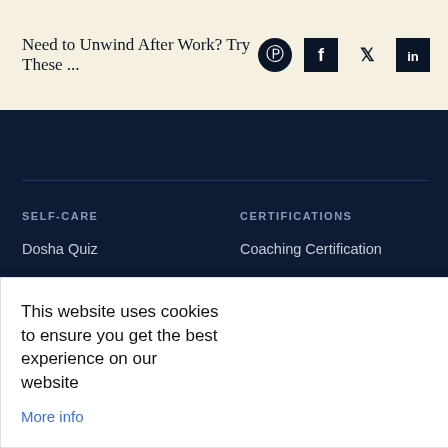Need to Unwind After Work? Try These ...
SELF-CARE
Dosha Quiz
Chopra: Meditation & Well-being app
Master Cl...
CERTIFICATIONS
Coaching Certification
Meditation Certification
Health Certification
...ations
...ner
This website uses cookies to ensure you get the best experience on our website
Got it!
More info